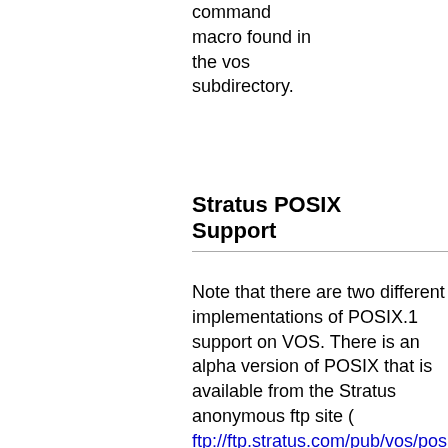command macro found in the vos subdirectory.
Stratus POSIX Support
Note that there are two different implementations of POSIX.1 support on VOS. There is an alpha version of POSIX that is available from the Stratus anonymous ftp site ( ftp://ftp.stratus.com/pub/vos/posix/alpha/al ). There is a generally-available version of POSIX that comes with VOS Release 14.3.0 which...